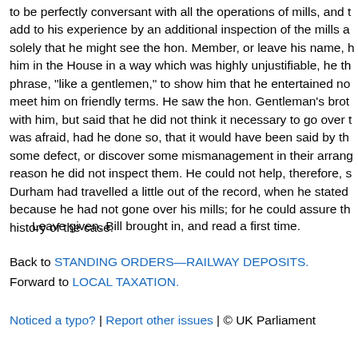to be perfectly conversant with all the operations of mills, and t add to his experience by an additional inspection of the mills a solely that he might see the hon. Member, or leave his name, h him in the House in a way which was highly unjustifiable, he th phrase, "like a gentlemen," to show him that he entertained no meet him on friendly terms. He saw the hon. Gentleman's brot with him, but said that he did not think it necessary to go over t was afraid, had he done so, that it would have been said by th some defect, or discover some mismanagement in their arrang reason he did not inspect them. He could not help, therefore, s Durham had travelled a little out of the record, when he stated because he had not gone over his mills; for he could assure th history of the case.
Leave given. Bill brought in, and read a first time.
Back to STANDING ORDERS—RAILWAY DEPOSITS. Forward to LOCAL TAXATION.
Noticed a typo? | Report other issues | © UK Parliament